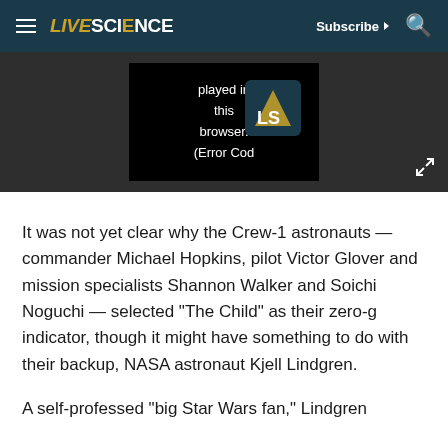LIVE SCIENCE — Subscribe — Search
[Figure (screenshot): Video player error message showing 'played in this browser. (Error Cod' with LiveScience logo badge on dark background]
It was not yet clear why the Crew-1 astronauts — commander Michael Hopkins, pilot Victor Glover and mission specialists Shannon Walker and Soichi Noguchi — selected "The Child" as their zero-g indicator, though it might have something to do with their backup, NASA astronaut Kjell Lindgren.
A self-professed "big Star Wars fan," Lindgren